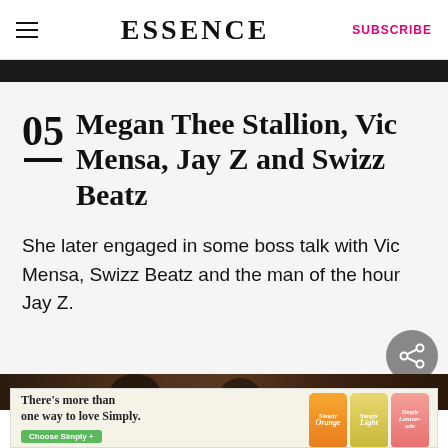ESSENCE | SUBSCRIBE
05 — Megan Thee Stallion, Vic Mensa, Jay Z and Swizz Beatz
She later engaged in some boss talk with Vic Mensa, Swizz Beatz and the man of the hour Jay Z.
[Figure (photo): Partial photo strip showing people in a room with dark wooden paneling]
[Figure (infographic): Advertisement banner: There's more than one way to love Simply. Choose Simply+ with images of Simply Orange, Simply Light, and Simply Lemonade juice bottles]